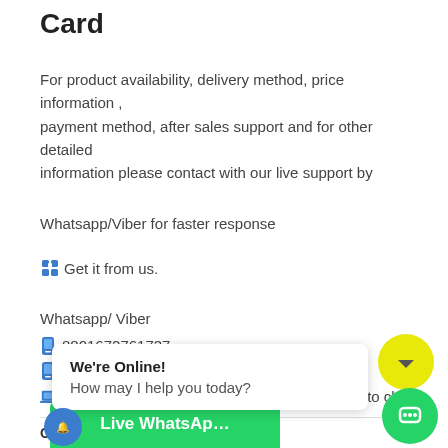Card
For product availability, delivery method, price information , payment method, after sales support and for other detailed information please contact with our live support by
Whatsapp/Viber for faster response
🧩 Get it from us.
Whatsapp/ Viber
📱 8801672761737
📱 61430386787
💻 http://wa.me/8801672761737 (24 hours click to chat )
Categories: Car Radio Un...
Tags: 1... unlock... an a...